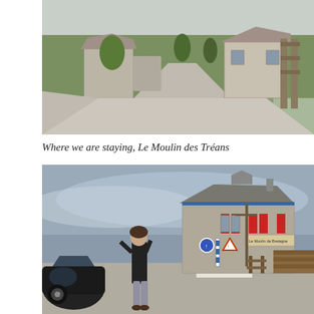[Figure (photo): Exterior view of Le Moulin des Tréans property showing a gravel driveway curving toward stone farm buildings with green grass and trees in the background under an overcast sky.]
Where we are staying, Le Moulin des Tréans
[Figure (photo): A person standing by a dark car on a road in front of a stone building with red shutters and road signs, the building marked as Le Moulin de Bretagne, under a grey cloudy sky.]